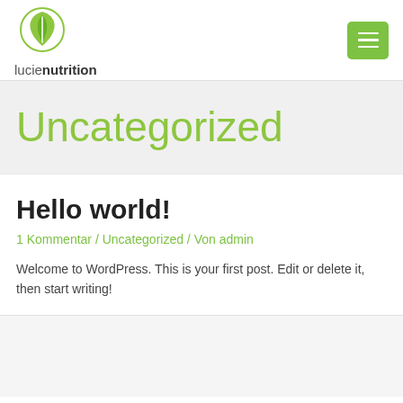[Figure (logo): Lucie Nutrition logo with green leaf icon and text 'lucienutrition']
Uncategorized
Hello world!
1 Kommentar / Uncategorized / Von admin
Welcome to WordPress. This is your first post. Edit or delete it, then start writing!